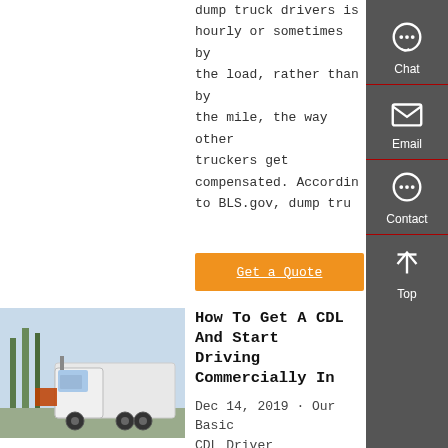dump truck drivers is hourly or sometimes by the load, rather than by the mile, the way other truckers get compensated. According to BLS.gov, dump tru...
Get a Quote
[Figure (photo): Photo of a white semi-truck / commercial tractor with trees in the background]
How To Get A CDL And Start Driving Commercially In...
Dec 14, 2019 · Our Basic CDL Driver Training...